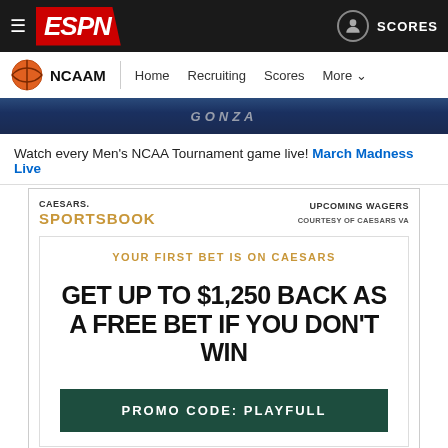[Figure (screenshot): ESPN website navigation bar with hamburger menu, ESPN logo on red background, user icon and SCORES link on the right]
[Figure (screenshot): Secondary navigation bar with basketball icon, NCAAM label, and links: Home, Recruiting, Scores, More]
[Figure (photo): Partial hero image showing basketball players, with GONZA text visible on jersey]
Watch every Men's NCAA Tournament game live! March Madness Live
[Figure (infographic): Caesars Sportsbook advertisement. Header: CAESARS SPORTSBOOK | UPCOMING WAGERS COURTESY OF CAESARS VA. Inner box: YOUR FIRST BET IS ON CAESARS. GET UP TO $1,250 BACK AS A FREE BET IF YOU DON'T WIN. Button: PROMO CODE: PLAYFULL]